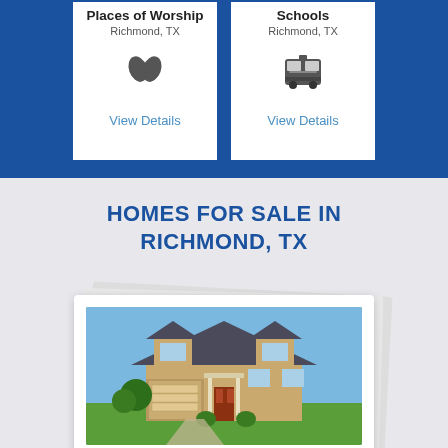Places of Worship
Richmond, TX
View Details
Schools
Richmond, TX
View Details
HOMES FOR SALE IN RICHMOND, TX
[Figure (photo): Photograph of a single-family home with two-car garage, front porch, and green lawn under blue sky]
Single Family